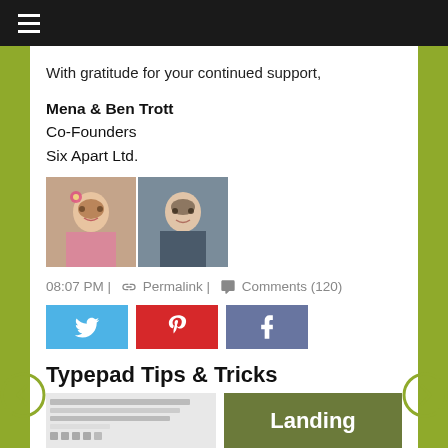≡
With gratitude for your continued support,
Mena & Ben Trott
Co-Founders
Six Apart Ltd.
[Figure (photo): Two portrait photos side by side: a woman and a man]
08:07 PM | Permalink | Comments (120)
[Figure (infographic): Social sharing buttons: Twitter (blue), Pinterest (red), Facebook (slate blue)]
Typepad Tips & Tricks
[Figure (screenshot): Two thumbnail images: a screenshot on the left and a green 'Landing' graphic on the right]